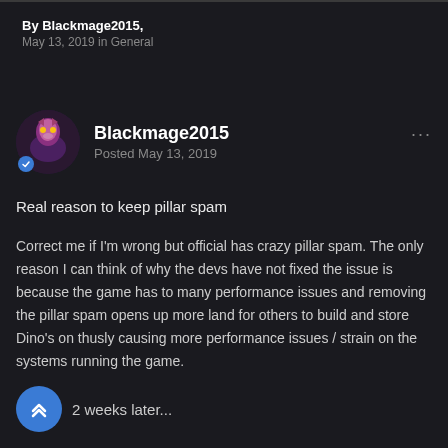By Blackmage2015, May 13, 2019 in General
Blackmage2015
Posted May 13, 2019
Real reason to keep pillar spam
Correct me if I'm wrong but official has crazy pillar spam. The only reason I can think of why the devs have not fixed the issue is because the game has to many performance issues and removing the pillar spam opens up more land for others to build and store Dino's on thusly causing more performance issues / strain on the systems running the game.
2 weeks later...